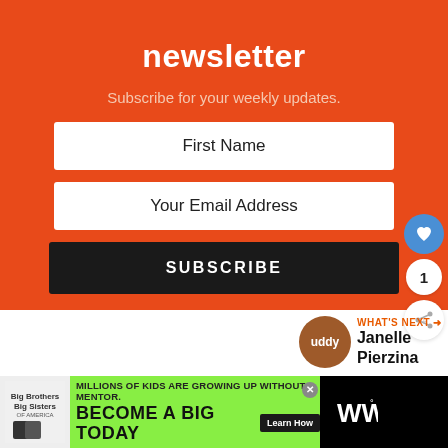newsletter
Subscribe for your weekly updates.
First Name
Your Email Address
SUBSCRIBE
WHAT'S NEXT → Janelle Pierzina
[Figure (infographic): Advertisement banner: Big Brothers Big Sisters. 'MILLIONS OF KIDS ARE GROWING UP WITHOUT A MENTOR. BECOME A BIG TODAY. Learn How']
1